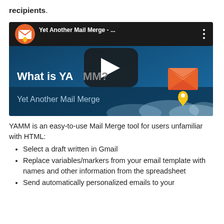recipients.
[Figure (screenshot): YouTube video thumbnail for 'Yet Another Mail Merge - ...' showing a dark blue background with text 'What is YAMM?' and 'Yet Another Mail Merge', a play button in the center, and the YAMM logo (envelope with location pin) on top left and right side.]
YAMM is an easy-to-use Mail Merge tool for users unfamiliar with HTML:
Select a draft written in Gmail
Replace variables/markers from your email template with names and other information from the spreadsheet
Send automatically personalized emails to your